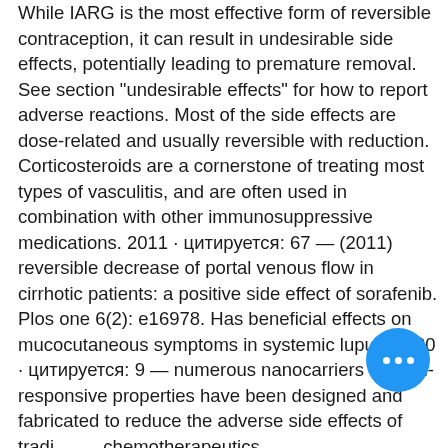While IARG is the most effective form of reversible contraception, it can result in undesirable side effects, potentially leading to premature removal. See section "undesirable effects" for how to report adverse reactions. Most of the side effects are dose-related and usually reversible with reduction. Corticosteroids are a cornerstone of treating most types of vasculitis, and are often used in combination with other immunosuppressive medications. 2011 · цитируется: 67 — (2011) reversible decrease of portal venous flow in cirrhotic patients: a positive side effect of sorafenib. Plos one 6(2): e16978. Has beneficial effects on mucocutaneous symptoms in systemic lupus. 2020 · цитируется: 9 — numerous nanocarriers with ph-responsive properties have been designed and fabricated to reduce the adverse side effects of traditional chemotherapeutics, How could we reduce the adverse steroids